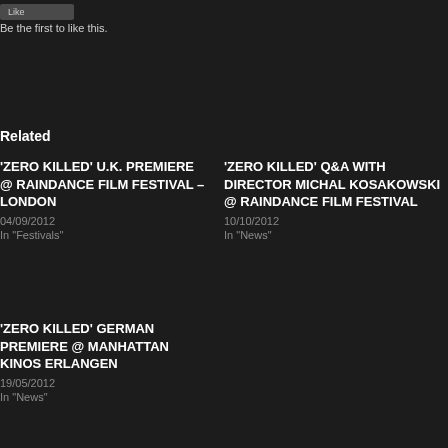[Figure (other): Like button UI element]
Be the first to like this.
Related
'ZERO KILLED' U.K. PREMIERE @ RAINDANCE FILM FESTIVAL – LONDON
04/09/2012
In "Festivals"
'ZERO KILLED' Q&A WITH DIRECTOR MICHAL KOSAKOWSKI @ RAINDANCE FILM FESTIVAL
10/10/2012
In "News"
'ZERO KILLED' GERMAN PREMIERE @ MANHATTAN KINOS ERLANGEN
19/05/2012
In "News"